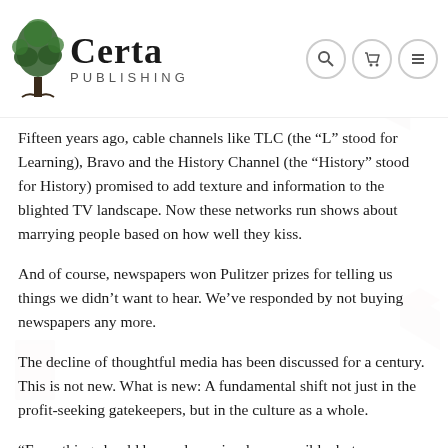[Figure (logo): Certa Publishing logo with tree illustration and navigation icons (search, cart, menu)]
Fifteen years ago, cable channels like TLC (the “L” stood for Learning), Bravo and the History Channel (the “History” stood for History) promised to add texture and information to the blighted TV landscape. Now these networks run shows about marrying people based on how well they kiss.
And of course, newspapers won Pulitzer prizes for telling us things we didn’t want to hear. We’ve responded by not buying newspapers any more.
The decline of thoughtful media has been discussed for a century. This is not new. What is new: A fundamental shift not just in the profit-seeking gatekeepers, but in the culture as a whole.
“Everything should be made as simple as possible, but no simpler.”*